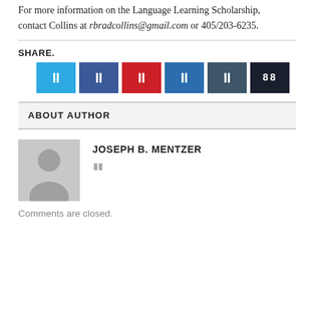For more information on the Language Learning Scholarship, contact Collins at rbradcollins@gmail.com or 405/203-6235.
SHARE.
[Figure (other): Six social share buttons: Twitter (light blue), Facebook (dark blue), Pinterest (red), LinkedIn (medium blue), Tumblr (dark blue-gray), Print (very dark navy with '88' icon)]
ABOUT AUTHOR
[Figure (photo): Generic author avatar placeholder: gray square with silhouette of a person (head and shoulders)]
JOSEPH B. MENTZER
Comments are closed.